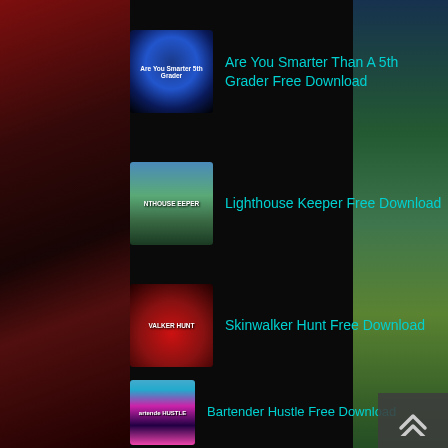Are You Smarter Than A 5th Grader Free Download
Lighthouse Keeper Free Download
Skinwalker Hunt Free Download
Bartender Hustle Free Download
Kukoos: Lost Pets Free Download (v1.0.44)
[Figure (screenshot): Screenshot of a game/software download listing page with dark background and cyan text titles, showing app thumbnails on the left and download titles on the right]